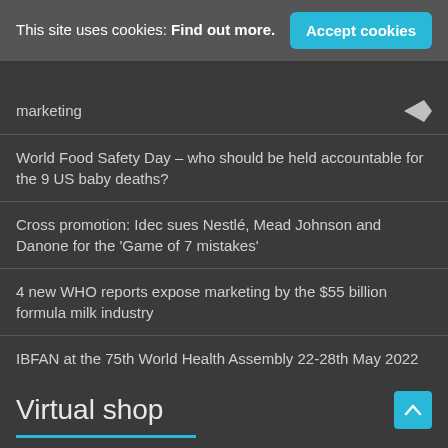This site uses cookies: Find out more.
Accept cookies
marketing
World Food Safety Day – who should be held accountable for the 9 US baby deaths?
Cross promotion: Idec sues Nestlé, Mead Johnson and Danone for the 'Game of 7 mistakes'
4 new WHO reports expose marketing by the $55 billion formula milk industry
IBFAN at the 75th World Health Assembly 22-28th May 2022
Governments must control their unethical corporations
NEW: WHO UNICEF IBFAN -National implementation of the Code Status report 2022
Virtual shop